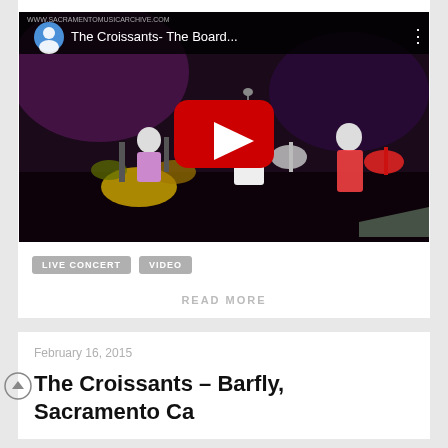[Figure (screenshot): YouTube video thumbnail showing The Croissants live concert - The Board... with play button overlay and band performing on stage]
LIVE CONCERT   VIDEO
READ MORE
February 16, 2015
The Croissants – Barfly, Sacramento Ca